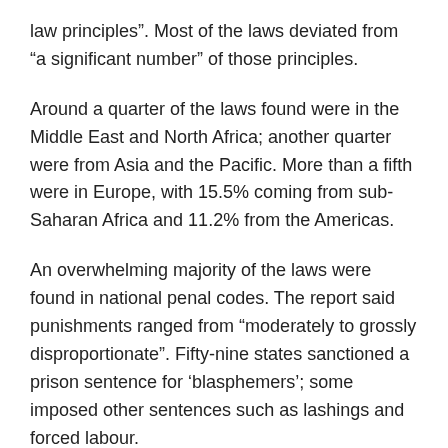law principles”. Most of the laws deviated from “a significant number” of those principles.
Around a quarter of the laws found were in the Middle East and North Africa; another quarter were from Asia and the Pacific. More than a fifth were in Europe, with 15.5% coming from sub-Saharan Africa and 11.2% from the Americas.
An overwhelming majority of the laws were found in national penal codes. The report said punishments ranged from “moderately to grossly disproportionate”. Fifty-nine states sanctioned a prison sentence for ‘blasphemers’; some imposed other sentences such as lashings and forced labour.